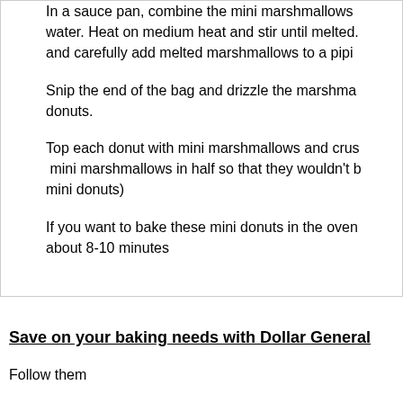In a sauce pan, combine the mini marshmallows water. Heat on medium heat and stir until melted. and carefully add melted marshmallows to a pipi
Snip the end of the bag and drizzle the marshma donuts.
Top each donut with mini marshmallows and crus mini marshmallows in half so that they wouldn't b mini donuts)
If you want to bake these mini donuts in the oven about 8-10 minutes
Save on your baking needs with Dollar General
Follow them